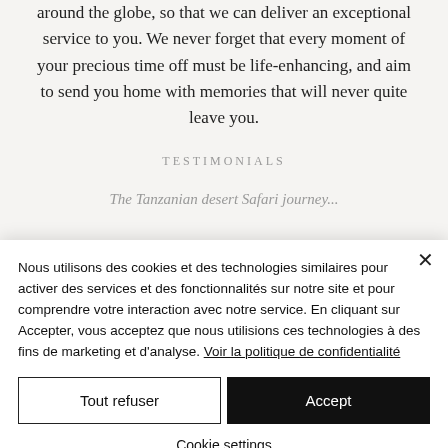around the globe, so that we can deliver an exceptional service to you. We never forget that every moment of your precious time off must be life-enhancing, and aim to send you home with memories that will never quite leave you.
TESTIMONIALS
The Tanzanian desert Safari journey...
Nous utilisons des cookies et des technologies similaires pour activer des services et des fonctionnalités sur notre site et pour comprendre votre interaction avec notre service. En cliquant sur Accepter, vous acceptez que nous utilisions ces technologies à des fins de marketing et d'analyse. Voir la politique de confidentialité
Tout refuser
Accept
Cookie settings